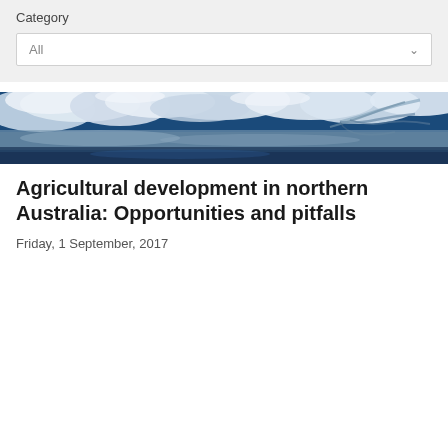Category
All
[Figure (photo): Satellite aerial photograph of northern Australia coastline and river systems, showing blue water, white cloud formations, and branching river deltas viewed from space.]
Agricultural development in northern Australia: Opportunities and pitfalls
Friday, 1 September, 2017